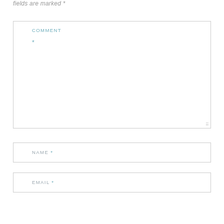fields are marked *
COMMENT *
NAME *
EMAIL *